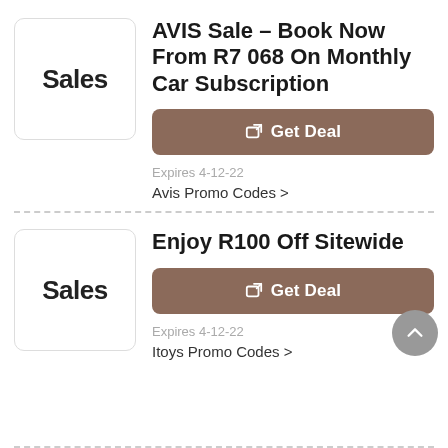[Figure (other): Sales badge icon - white box with border showing 'Sales' text in bold]
AVIS Sale - Book Now From R7 068 On Monthly Car Subscription
Get Deal
Expires 4-12-22
Avis Promo Codes >
[Figure (other): Sales badge icon - white box with border showing 'Sales' text in bold]
Enjoy R100 Off Sitewide
Get Deal
Expires 4-12-22
Itoys Promo Codes >